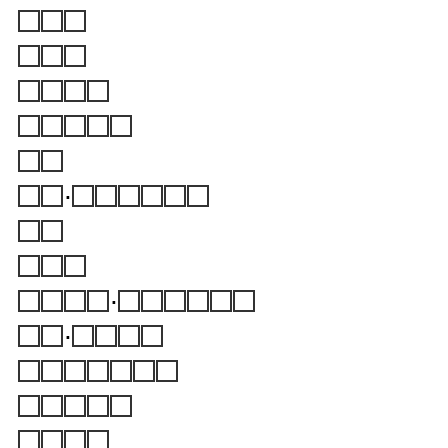[][][]
[][][]
[][][][]
[][][][][]
[][]
[][]·[][][][][][]
[][]
[][][]
[][][][]·[][][][][][]
[][]·[][][]
[][][][][][][]
[][][][][]
[][][][]
[][][]·[][][][][]
[][][]
[][][][]
[][][]